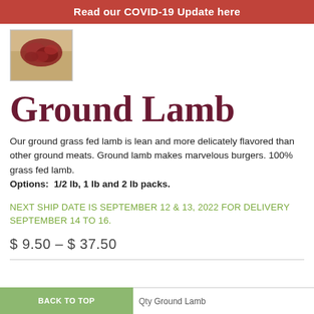Read our COVID-19 Update here
[Figure (photo): Thumbnail photo of ground lamb meat on a wooden cutting board]
Ground Lamb
Our ground grass fed lamb is lean and more delicately flavored than other ground meats. Ground lamb makes marvelous burgers. 100% grass fed lamb.
Options:  1/2 lb, 1 lb and 2 lb packs.
NEXT SHIP DATE IS SEPTEMBER 12 & 13, 2022 FOR DELIVERY SEPTEMBER 14 TO 16.
$ 9.50 – $ 37.50
BACK TO TOP
Qty Ground Lamb